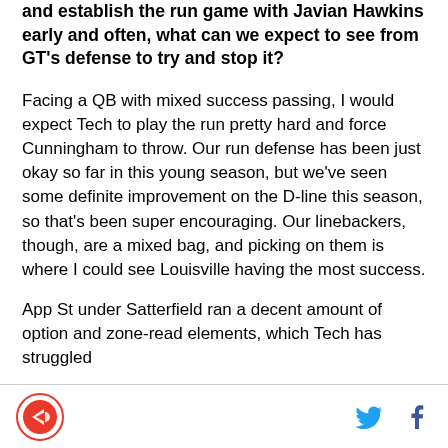and establish the run game with Javian Hawkins early and often, what can we expect to see from GT's defense to try and stop it?
Facing a QB with mixed success passing, I would expect Tech to play the run pretty hard and force Cunningham to throw. Our run defense has been just okay so far in this young season, but we've seen some definite improvement on the D-line this season, so that's been super encouraging. Our linebackers, though, are a mixed bag, and picking on them is where I could see Louisville having the most success.
App St under Satterfield ran a decent amount of option and zone-read elements, which Tech has struggled
Logo | Twitter | Facebook